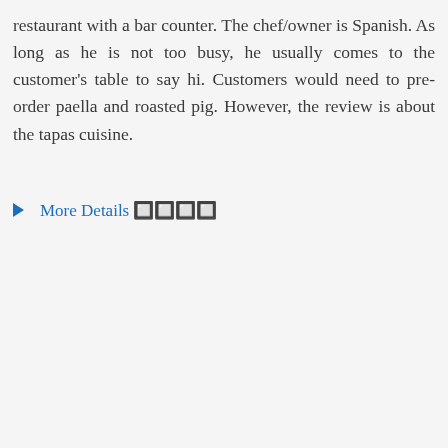restaurant with a bar counter. The chef/owner is Spanish. As long as he is not too busy, he usually comes to the customer's table to say hi. Customers would need to pre-order paella and roasted pig. However, the review is about the tapas cuisine.
▶ More Details 🔲🔲🔲🔲